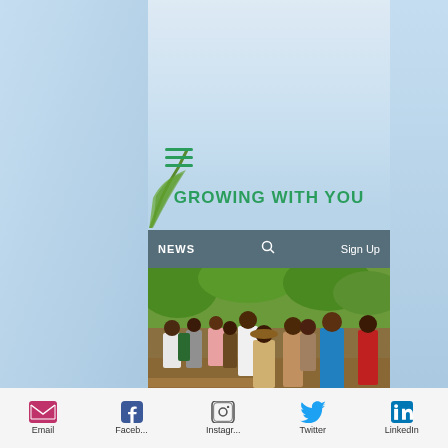[Figure (screenshot): Mobile webpage screenshot showing 'Growing With You' website with hamburger menu, news navigation bar with search and sign up, group photo of people outdoors in a garden/farm setting, and social media footer icons]
GROWING WITH YOU
NEWS   🔍   Sign Up
[Figure (photo): Group photo of approximately 12-15 people standing outdoors in a farm or garden setting with lush green vegetation and coconut palms in the background, reddish soil visible]
Email   Faceb...   Instagr...   Twitter   LinkedIn